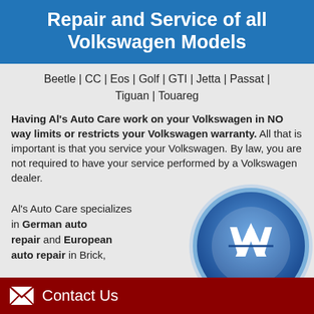Repair and Service of all Volkswagen Models
Beetle | CC | Eos | Golf | GTI | Jetta | Passat | Tiguan | Touareg
Having Al's Auto Care work on your Volkswagen in NO way limits or restricts your Volkswagen warranty. All that is important is that you service your Volkswagen. By law, you are not required to have your service performed by a Volkswagen dealer.
Al's Auto Care specializes in German auto repair and European auto repair in Brick, NJ 08723.
[Figure (logo): Volkswagen circular logo with VW emblem in blue and silver]
Contact Us